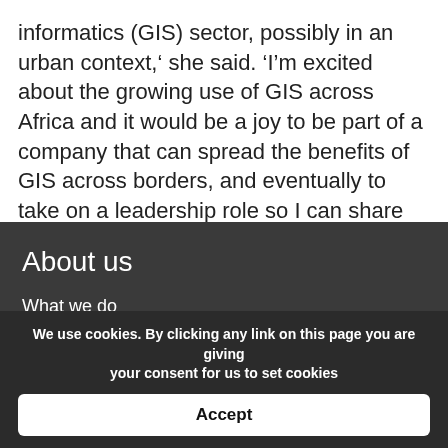informatics (GIS) sector, possibly in an urban context,' she said. 'I'm excited about the growing use of GIS across Africa and it would be a joy to be part of a company that can spread the benefits of GIS across borders, and eventually to take on a leadership role so I can share the skills and perspectives I have gained.'
About us
What we do
Help
We use cookies. By clicking any link on this page you are giving your consent for us to set cookies
Accept